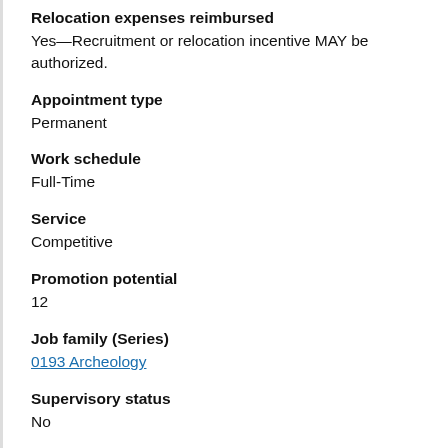Relocation expenses reimbursed
Yes—Recruitment or relocation incentive MAY be authorized.
Appointment type
Permanent
Work schedule
Full-Time
Service
Competitive
Promotion potential
12
Job family (Series)
0193 Archeology
Supervisory status
No